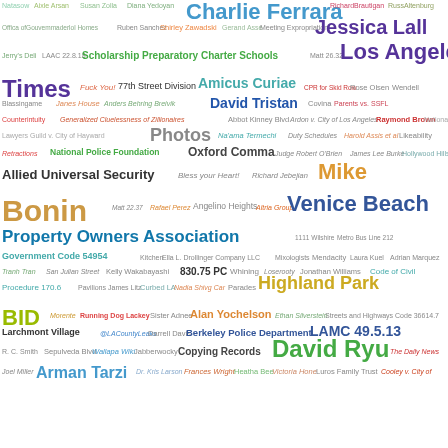[Figure (infographic): Word cloud containing legal, governmental, and personal name terms related to Los Angeles legal/civic matters. Key terms include: Charlie Ferrara, Jessica Lall, Los Angeles Times, Amicus Curiae, David Tristan, Photos, National Police Foundation, Oxford Comma, Mike Bonin, Venice Beach Property Owners Association, Government Code 54954, Highland Park BID, Larchmont Village, LAMC 49.5.13, David Ryu, Arman Tarzi, and many others, displayed in varying sizes and colors (teal, green, purple, orange, yellow-green).]